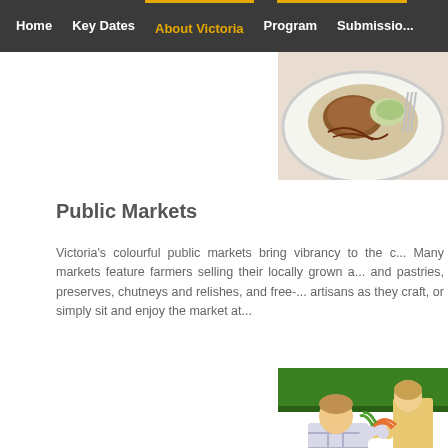Home | Key Dates | About Victoria | Program | Submission
[Figure (photo): Close-up of a plated food dish, partially visible on the right side of the page]
Public Markets
Victoria's colourful public markets bring vibrancy to the c... Many markets feature farmers selling their locally grown a... and pastries, preserves, chutneys and relishes, and free-... artisans as they craft, or simply sit and enjoy the market at...
[Figure (photo): Man and woman at a farmers market stall exchanging fresh vegetables including carrots and greens, under a green canopy]